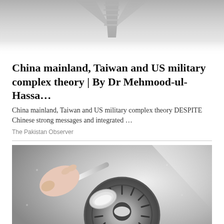[Figure (photo): Top of page showing partial image of a person in a suit and striped tie, fading to white at the bottom]
China mainland, Taiwan and US military complex theory | By Dr Mehmood-ul-Hassa…
China mainland, Taiwan and US military complex theory DESPITE Chinese strong messages and integrated …
The Pakistan Observer
[Figure (photo): Photo of a hand holding a metal spoon pouring white powder (baking soda) into a metal kitchen sink drain]